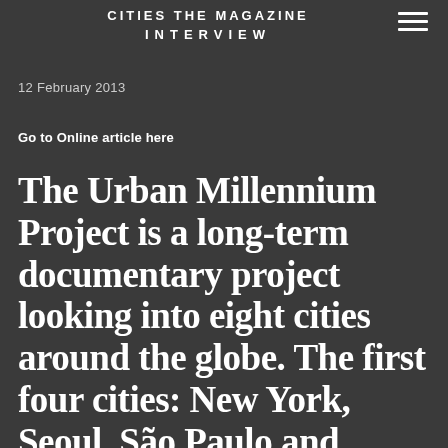CITIES THE MAGAZINE INTERVIEW
12 February 2013
Go to Online article here
The Urban Millennium Project is a long-term documentary project looking into eight cities around the globe. The first four cities: New York, Seoul, São Paulo and Mumbai have been photographed and will be continued by Shanghai, Tokyo